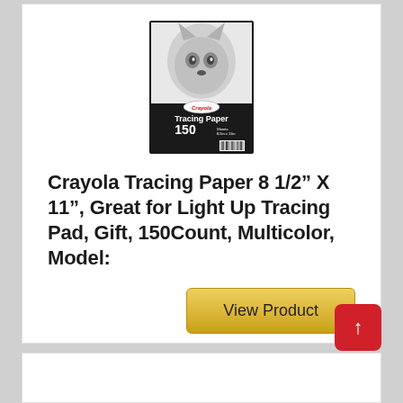[Figure (photo): Crayola Tracing Paper product package showing a wolf sketch on the cover, with '150' count and 'Tracing Paper' text, black packaging with barcode]
Crayola Tracing Paper 8 1/2” X 11”, Great for Light Up Tracing Pad, Gift, 150Count, Multicolor, Model:
View Product